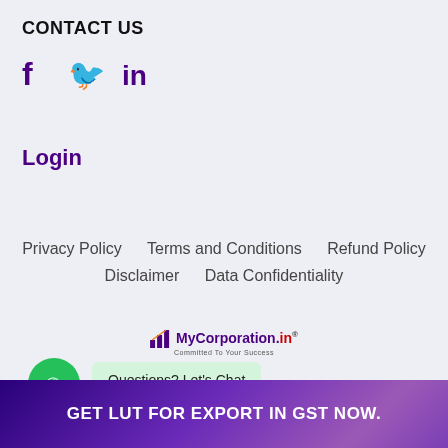CONTACT US
[Figure (illustration): Social media icons: Facebook (f), Twitter (bird), LinkedIn (in) in purple color]
Login
Privacy Policy   Terms and Conditions   Refund Policy   Disclaimer   Data Confidentiality
[Figure (logo): MyCorporation.in logo with bar chart icon and tagline 'Committed To Your Success']
[Figure (illustration): WhatsApp green circle button with chat bubble saying 'Questions? Let's Chat']
© Mycorporation 2013-2021 / All Rights Reserved -
GET LUT FOR EXPORT IN GST NOW.